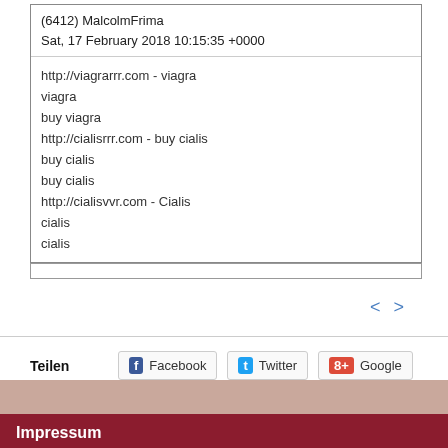(6412) MalcolmFrima
Sat, 17 February 2018 10:15:35 +0000
http://viagrarrr.com - viagra
viagra
buy viagra
http://cialisrrr.com - buy cialis
buy cialis
buy cialis
http://cialisvvr.com - Cialis
cialis
cialis
< >
Teilen
Facebook
Twitter
Google
Impressum